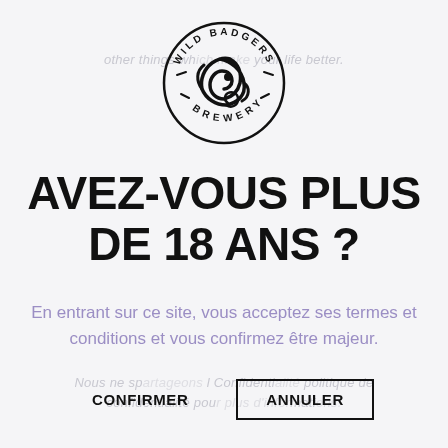[Figure (logo): Wild Badgers Brewery circular logo with swirling badger design and text around the border]
AVEZ-VOUS PLUS DE 18 ANS ?
En entrant sur ce site, vous acceptez ses termes et conditions et vous confirmez être majeur.
CONFIRMER
ANNULER